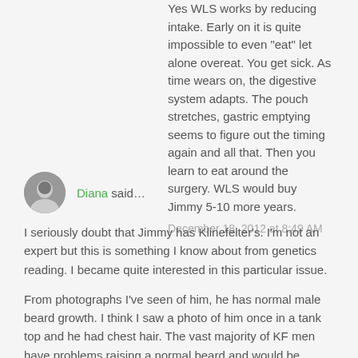Yes WLS works by reducing intake. Early on it is quite impossible to even "eat" let alone overeat. You get sick. As time wears on, the digestive system adapts. The pouch stretches, gastric emptying seems to figure out the timing again and all that. Then you learn to eat around the surgery. WLS would buy Jimmy 5-10 more years.
December 18, 2012 at 8:49 AM
Diana said...
I seriously doubt that Jimmy has Klinefelter's. I'm not an expert but this is something I know about from genetics reading. I became quite interested in this particular issue.
From photographs I've seen of him, he has normal male beard growth. I think I saw a photo of him once in a tank top and he had chest hair. The vast majority of KF men have problems raising a normal beard and would be unlikely to have chest hair.